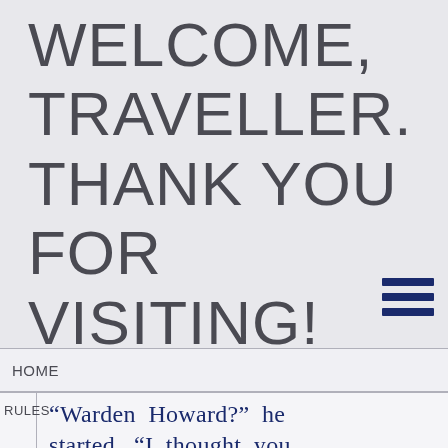WELCOME, TRAVELLER. THANK YOU FOR VISITING! PLEASE LOGIN OR REGISTER.
[Figure (other): Hamburger menu icon — three horizontal dark navy bars stacked vertically]
HOME
"Warden Howard?" he started. "I thought you
RULES